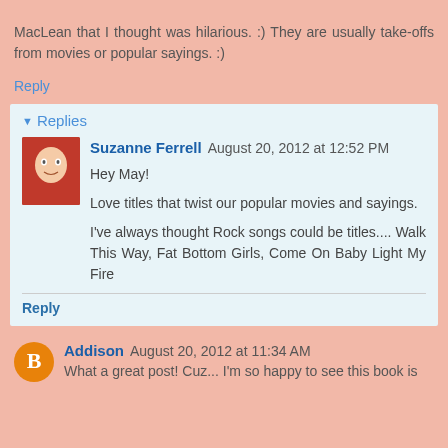MacLean that I thought was hilarious. :) They are usually take-offs from movies or popular sayings. :)
Reply
Replies
Suzanne Ferrell  August 20, 2012 at 12:52 PM
Hey May!

Love titles that twist our popular movies and sayings.

I've always thought Rock songs could be titles.... Walk This Way, Fat Bottom Girls, Come On Baby Light My Fire
Reply
Addison  August 20, 2012 at 11:34 AM
What a great post! Cuz... I'm so happy to see this book is